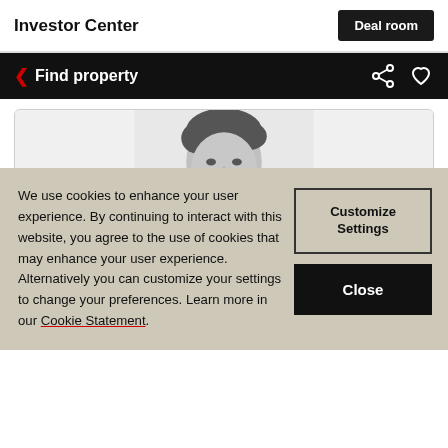Investor Center
Deal room
< Find property
[Figure (photo): Black and white headshot photo of a man in a suit, smiling slightly, visible from shoulders up.]
We use cookies to enhance your user experience. By continuing to interact with this website, you agree to the use of cookies that may enhance your user experience. Alternatively you can customize your settings to change your preferences. Learn more in our Cookie Statement.
Customize Settings
Close